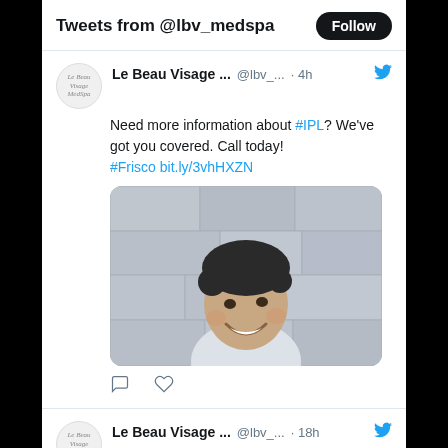Tweets from @lbv_medspa
Le Beau Visage ... @lbv_... · 4h
Need more information about #IPL? We've got you covered. Call today!
#Frisco bit.ly/3vhHXZN
[Figure (photo): Photo of a smiling man with dark curly hair, light shirt, against a stone wall background]
Le Beau Visage ... @lbv_... · 18h
#Melasma is a common condition for pregnant women. We can help treat it!
#Frisco bit.ly/34MgRxX